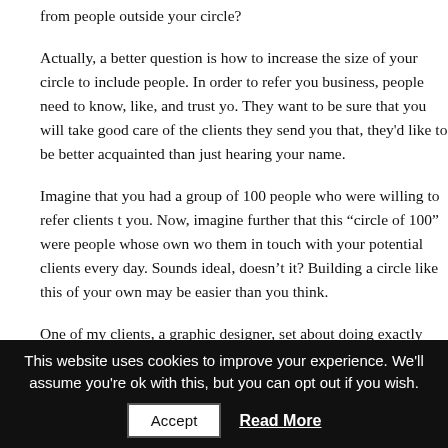from people outside your circle?
Actually, a better question is how to increase the size of your circle to include people. In order to refer you business, people need to know, like, and trust yo. They want to be sure that you will take good care of the clients they send you that, they'd like to be better acquainted than just hearing your name.
Imagine that you had a group of 100 people who were willing to refer clients t you. Now, imagine further that this “circle of 100” were people whose own wo them in touch with your potential clients every day. Sounds ideal, doesn’t it? Building a circle like this of your own may be easier than you think.
One of my clients, a graphic designer, set about doing exactly this when she launched her business. She identified a list of people in her city who were like be strong referral sources, and began methodically making their acquaintanc. Within a few months, she had a steady stream of new clients. Better still, sinc these clients were referrals, they were usually ready to do business when the
This website uses cookies to improve your experience. We'll assume you're ok with this, but you can opt out if you wish.
Accept
Read More